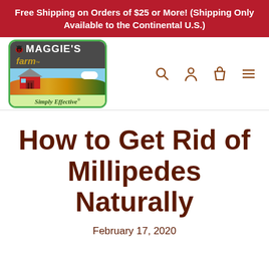Free Shipping on Orders of $25 or More! (Shipping Only Available to the Continental U.S.)
[Figure (logo): Maggie's Farm logo with ladybug, red barn, farm scene, and 'Simply Effective' tagline]
How to Get Rid of Millipedes Naturally
February 17, 2020